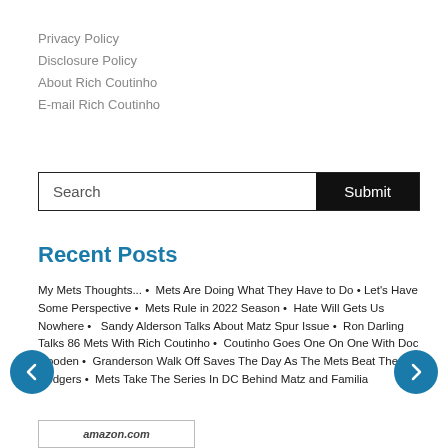Privacy Policy
Disclosure Policy
About Rich Coutinho
E-mail Rich Coutinho
Recent Posts
My Mets Thoughts... • Mets Are Doing What They Have to Do • Let's Have Some Perspective • Mets Rule in 2022 Season • Hate Will Gets Us Nowhere • Sandy Alderson Talks About Matz Spur Issue • Ron Darling Talks 86 Mets With Rich Coutinho • Coutinho Goes One On One With Doc Gooden • Granderson Walk Off Saves The Day As The Mets Beat The Dodgers • Mets Take The Series In DC Behind Matz and Familia
[Figure (other): Left navigation arrow button (teal circle with left arrow)]
[Figure (other): Right navigation arrow button (teal circle with right arrow)]
[Figure (other): Amazon.com partial logo/bar at bottom]